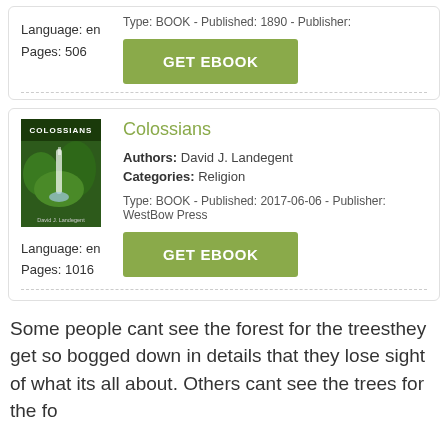Language: en
Pages: 506
Type: BOOK - Published: 1890 - Publisher:
[Figure (other): Green GET EBOOK button]
[Figure (photo): Book cover for Colossians with waterfall image]
Colossians
Authors: David J. Landegent
Categories: Religion
Language: en
Pages: 1016
Type: BOOK - Published: 2017-06-06 - Publisher: WestBow Press
[Figure (other): Green GET EBOOK button]
Some people cant see the forest for the treesthey get so bogged down in details that they lose sight of what its all about. Others cant see the trees for the fo